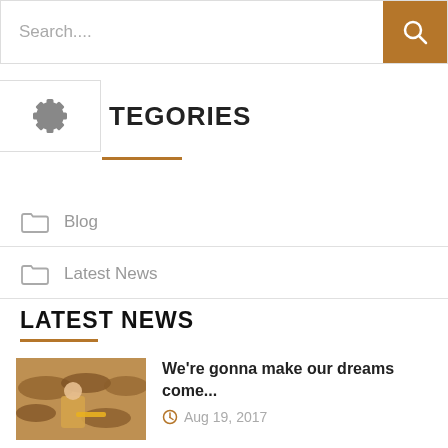Search....
CATEGORIES
Blog
Latest News
LATEST NEWS
We're gonna make our dreams come...
Aug 19, 2017